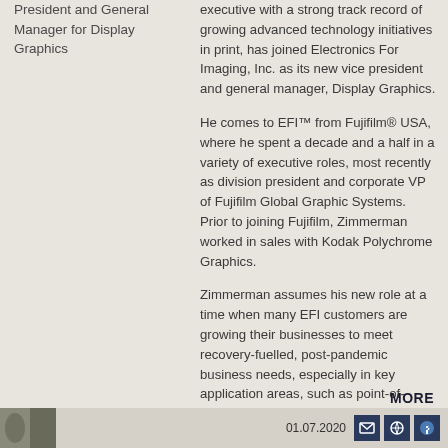President and General Manager for Display Graphics
executive with a strong track record of growing advanced technology initiatives in print, has joined Electronics For Imaging, Inc. as its new vice president and general manager, Display Graphics.
He comes to EFI™ from Fujifilm® USA, where he spent a decade and a half in a variety of executive roles, most recently as division president and corporate VP of Fujifilm Global Graphic Systems. Prior to joining Fujifilm, Zimmerman worked in sales with Kodak Polychrome Graphics.
Zimmerman assumes his new role at a time when many EFI customers are growing their businesses to meet recovery-fuelled, post-pandemic business needs, especially in key application areas, such as point-of-purchase graphics, tradeshow and event signage, and environmental graphics and décor. As print businesses regain their momentum, Zimmerman will lead EFI's largest inkjet business segment, a Display Graphics business that is among the world's largest developers of superwide-format UV LED and dye-sublimation inkjet printers and inks.
MORE
01.07.2020